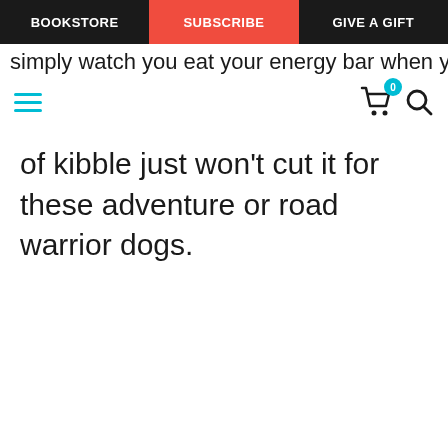BOOKSTORE | SUBSCRIBE | GIVE A GIFT
simply watch you eat your energy bar when you both
of kibble just won't cut it for these adventure or road warrior dogs.